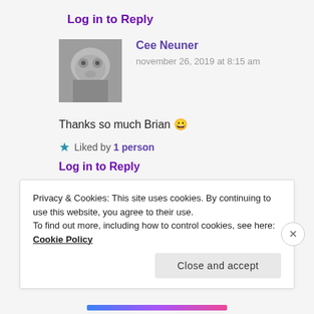Log in to Reply
Cee Neuner
november 26, 2019 at 8:15 am
Thanks so much Brian 😀
Liked by 1 person
Log in to Reply
Privacy & Cookies: This site uses cookies. By continuing to use this website, you agree to their use. To find out more, including how to control cookies, see here: Cookie Policy
Close and accept